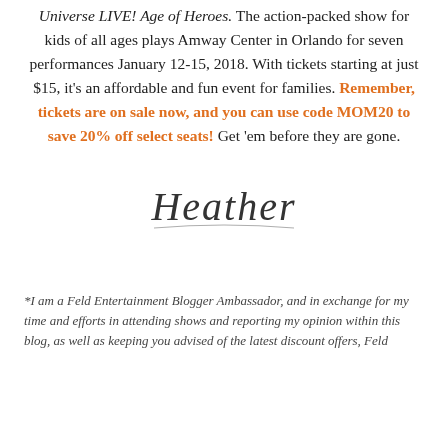Universe LIVE! Age of Heroes. The action-packed show for kids of all ages plays Amway Center in Orlando for seven performances January 12-15, 2018. With tickets starting at just $15, it's an affordable and fun event for families. Remember, tickets are on sale now, and you can use code MOM20 to save 20% off select seats! Get 'em before they are gone.
[Figure (illustration): Handwritten cursive signature reading 'Heather']
*I am a Feld Entertainment Blogger Ambassador, and in exchange for my time and efforts in attending shows and reporting my opinion within this blog, as well as keeping you advised of the latest discount offers, Feld